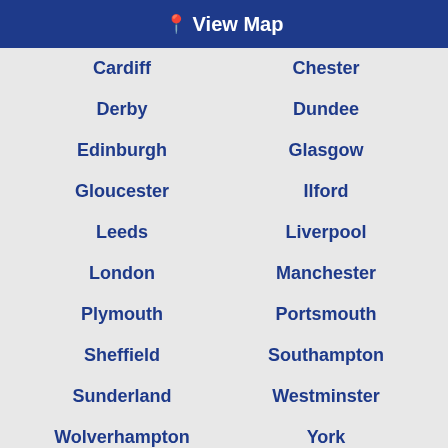View Map
Cardiff
Chester
Derby
Dundee
Edinburgh
Glasgow
Gloucester
Ilford
Leeds
Liverpool
London
Manchester
Plymouth
Portsmouth
Sheffield
Southampton
Sunderland
Westminster
Wolverhampton
York